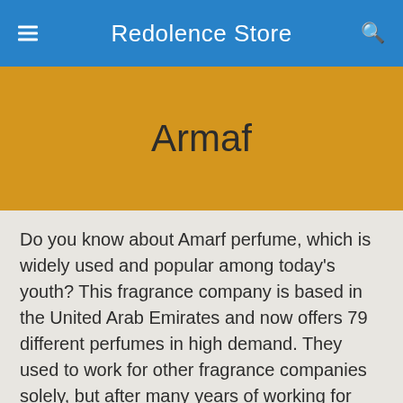Redolence Store
Armaf
Do you know about Amarf perfume, which is widely used and popular among today’s youth? This fragrance company is based in the United Arab Emirates and now offers 79 different perfumes in high demand. They used to work for other fragrance companies solely, but after many years of working for other firms, they finally decided to establish their scent, which is now available. Amarf perfumes were